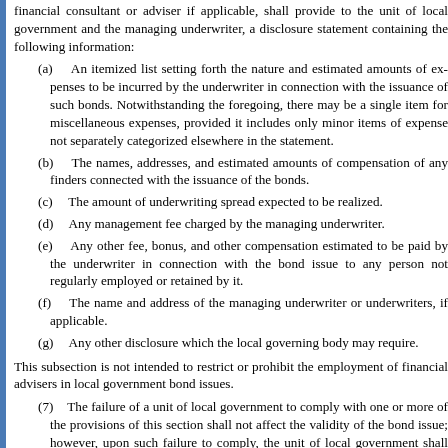financial consultant or adviser if applicable, shall provide to the unit of local government and the managing underwriter, a disclosure statement containing the following information:
(a) An itemized list setting forth the nature and estimated amounts of expenses to be incurred by the underwriter in connection with the issuance of such bonds. Notwithstanding the foregoing, there may be a single item for miscellaneous expenses, provided it includes only minor items of expense not separately categorized elsewhere in the statement.
(b) The names, addresses, and estimated amounts of compensation of any finders connected with the issuance of the bonds.
(c) The amount of underwriting spread expected to be realized.
(d) Any management fee charged by the managing underwriter.
(e) Any other fee, bonus, and other compensation estimated to be paid by the underwriter in connection with the bond issue to any person not regularly employed or retained by it.
(f) The name and address of the managing underwriter or underwriters, if applicable.
(g) Any other disclosure which the local governing body may require.
This subsection is not intended to restrict or prohibit the employment of financial advisers in local government bond issues.
(7) The failure of a unit of local government to comply with one or more of the provisions of this section shall not affect the validity of the bond issue; however, upon such failure to comply, the unit of local government shall be subject to the sanctions provided in s. 218.38(3).
(8) The truth-in-bonding statements prepared pursuant to this section are for informational purposes and shall not affect or control the actual terms and conditions of the debt or obligations.
History.—s. 1, ch. 80-98; s. 125, ch. 81-259; s. 3, ch. 82-195; s. 84, ch. 92-142.